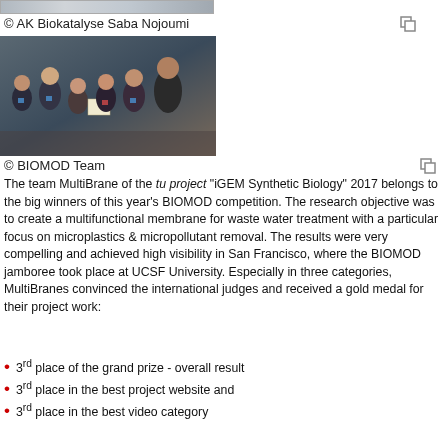[Figure (photo): Partial strip image at top, appears to be a cropped photo]
© AK Biokatalyse Saba Nojoumi
[Figure (photo): Group photo of the MultiBrane team (BIOMOD Team), six people standing together, one holding a certificate]
© BIOMOD Team
The team MultiBrane of the tu project "iGEM Synthetic Biology" 2017 belongs to the big winners of this year's BIOMOD competition. The research objective was to create a multifunctional membrane for waste water treatment with a particular focus on microplastics & micropollutant removal. The results were very compelling and achieved high visibility in San Francisco, where the BIOMOD jamboree took place at UCSF University. Especially in three categories, MultiBranes convinced the international judges and received a gold medal for their project work:
3rd place of the grand prize - overall result
3rd place in the best project website and
3rd place in the best video category